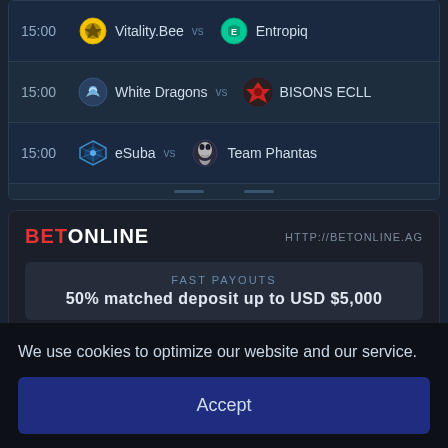| Time | Team1 | vs | Team2 |
| --- | --- | --- | --- |
| 15:00 | Vitality.Bee | vs | Entropiq |
| 15:00 | White Dragons | vs | BISONS ECLL |
| 15:00 | eSuba | vs | Team Phantas |
[Figure (logo): BETONLINE logo with BET in red and ONLINE in white]
HTTP://BETONLINE.AG
FAST PAYOUTS
50% matched deposit up to USD $5,000
VISIT BETONLINE
Review
We use cookies to optimize our website and our service.
Accept